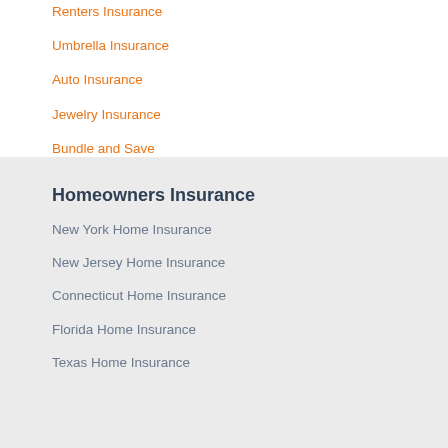Renters Insurance
Umbrella Insurance
Auto Insurance
Jewelry Insurance
Bundle and Save
Homeowners Insurance
New York Home Insurance
New Jersey Home Insurance
Connecticut Home Insurance
Florida Home Insurance
Texas Home Insurance